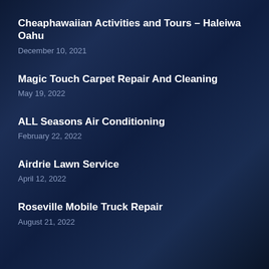Cheaphawaiian Activities and Tours – Haleiwa Oahu
December 10, 2021
Magic Touch Carpet Repair And Cleaning
May 19, 2022
ALL Seasons Air Conditioning
February 22, 2022
Airdrie Lawn Service
April 12, 2022
Roseville Mobile Truck Repair
August 21, 2022